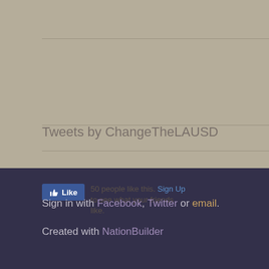Tweets by ChangeTheLAUSD
50 people like this. Sign Up to see what your friends like.
Subscribe with RSS
Sign in with Facebook, Twitter or email.
Created with NationBuilder